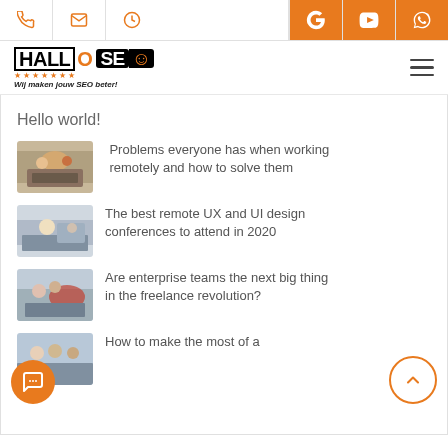Top navigation bar with phone, email, clock icons on left; Google, YouTube, WhatsApp icons on right
[Figure (logo): HALLO SEO logo with tagline 'Wij maken jouw SEO beter!' and hamburger menu icon]
Hello world!
[Figure (photo): Photo of two people working at a desk with a laptop]
Problems everyone has when working remotely and how to solve them
[Figure (photo): Photo of a person at a workspace with monitors]
The best remote UX and UI design conferences to attend in 2020
[Figure (photo): Photo of people in a meeting with a woman in red jacket]
Are enterprise teams the next big thing in the freelance revolution?
[Figure (photo): Photo of a group of people meeting/discussing]
How to make the most of a